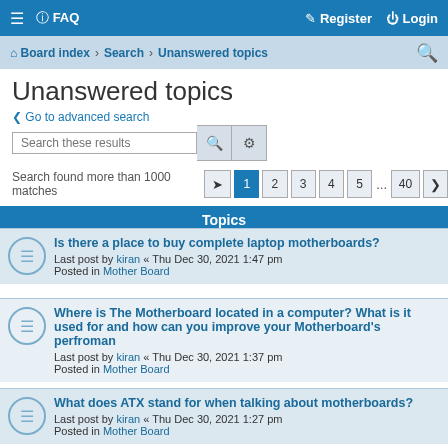≡  FAQ   Register  Login
Board index › Search › Unanswered topics
Unanswered topics
< Go to advanced search
Search these results
Search found more than 1000 matches  1 2 3 4 5 ... 40 >
Topics
Is there a place to buy complete laptop motherboards?
Last post by kiran « Thu Dec 30, 2021 1:47 pm
Posted in Mother Board
Where is The Motherboard located in a computer? What is it used for and how can you improve your Motherboard's perfroman
Last post by kiran « Thu Dec 30, 2021 1:37 pm
Posted in Mother Board
What does ATX stand for when talking about motherboards?
Last post by kiran « Thu Dec 30, 2021 1:27 pm
Posted in Mother Board
What is the function of PCI slots on motherboards?